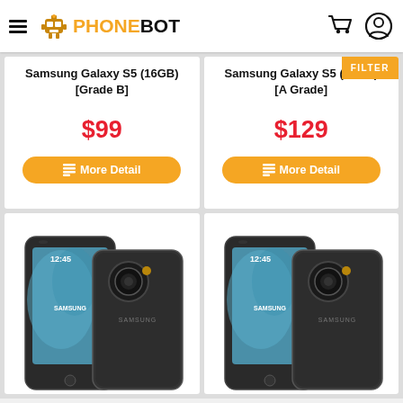PHONEBOT
Samsung Galaxy S5 (16GB) [Grade B]
$99
More Detail
Samsung Galaxy S5 (16GB) [A Grade]
$129
More Detail
[Figure (photo): Samsung Galaxy S5 rugged phone front and back view, dark gray]
[Figure (photo): Samsung Galaxy S5 rugged phone front and back view, dark gray]